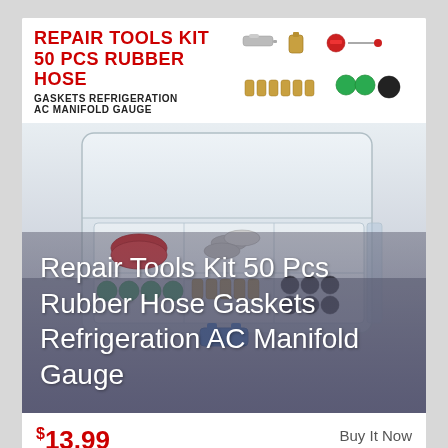[Figure (photo): Product listing header with red bold text 'REPAIR TOOLS KIT 50 PCS RUBBER HOSE' and subtitle 'GASKETS REFRIGERATION AC MANIFOLD GAUGE', with small product component images on the right showing fittings, valves, and gaskets.]
[Figure (photo): Main product photo showing a clear plastic organizer box containing various rubber hose gaskets, valves, spools and fittings in green, black, brass and red colors. White overlay text reads 'Repair Tools Kit 50 Pcs Rubber Hose Gaskets Refrigeration AC Manifold Gauge'.]
$13.99
Buy It Now
Free Shipping
Condition: New
Location: Monroe Township, United States
Universal refrigeration AC manifold gauge hose rubber gasket. The kit includes many valves, spools and gaskets. There is also a great tool to